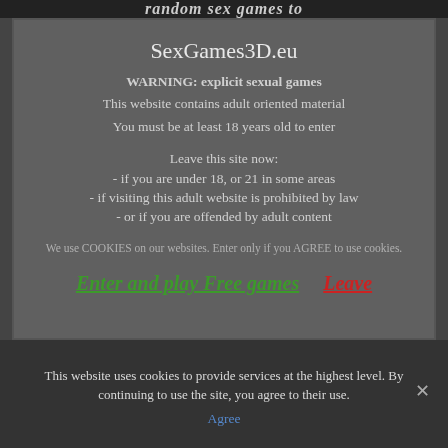random sex games to
SexGames3D.eu
WARNING: explicit sexual games
This website contains adult oriented material
You must be at least 18 years old to enter
Leave this site now:
- if you are under 18, or 21 in some areas
- if visiting this adult website is prohibited by law
- or if you are offended by adult content
We use COOKIES on our websites. Enter only if you AGREE to use cookies.
Enter and play Free games   Leave
This website uses cookies to provide services at the highest level. By continuing to use the site, you agree to their use.
Agree